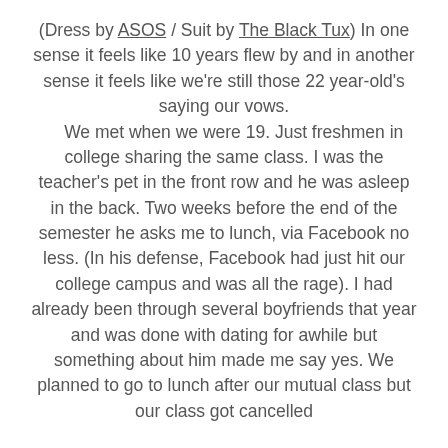(Dress by ASOS / Suit by The Black Tux) In one sense it feels like 10 years flew by and in another sense it feels like we're still those 22 year-old's saying our vows. We met when we were 19. Just freshmen in college sharing the same class. I was the teacher's pet in the front row and he was asleep in the back. Two weeks before the end of the semester he asks me to lunch, via Facebook no less. (In his defense, Facebook had just hit our college campus and was all the rage). I had already been through several boyfriends that year and was done with dating for awhile but something about him made me say yes. We planned to go to lunch after our mutual class but our class got cancelled